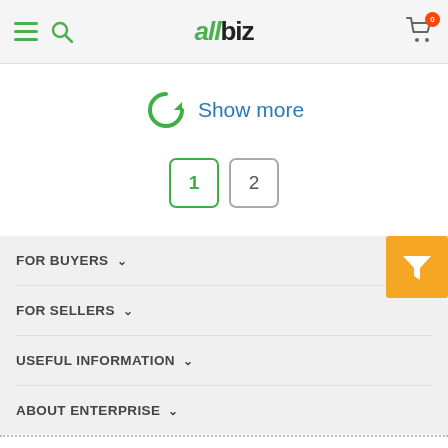allbiz — navigation header with hamburger, search, logo, cart (0)
Show more
1  2
FOR BUYERS
FOR SELLERS
USEFUL INFORMATION
ABOUT ENTERPRISE